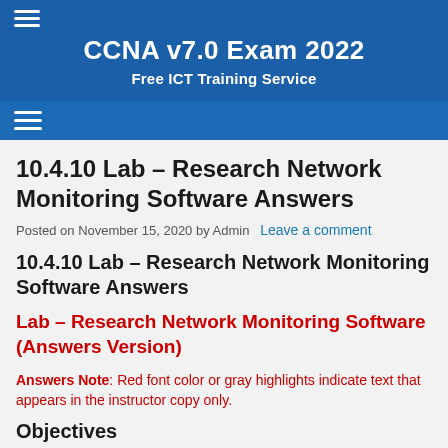CCNA v7.0 Exam 2022 — Free ICT Training Service
10.4.10 Lab – Research Network Monitoring Software Answers
Posted on November 15, 2020 by Admin   Leave a comment
10.4.10 Lab – Research Network Monitoring Software Answers
Lab – Research Network Monitoring Software (Answers Version)
Answers Note: Red font color or gray highlights indicate text that appears in the instructor copy only.
Objectives